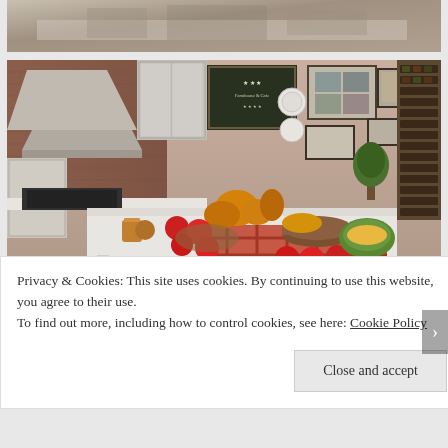[Figure (photo): Top portion of a virtual kitchen scene, partially cropped, showing countertops and kitchen interior from a 3D virtual world.]
[Figure (photo): A detailed 3D virtual kitchen scene with brick walls, gray cabinetry, a large range hood, framed artwork on walls, a marble island countertop covered with autumn harvest food items including pumpkins, apples, squash on a plaid cloth, and a wine rack on the right side.]
[Figure (photo): Bottom partial kitchen image showing autumn foliage scene through windows and kitchen decor, partially obscured by cookie banner.]
Privacy & Cookies: This site uses cookies. By continuing to use this website, you agree to their use.
To find out more, including how to control cookies, see here: Cookie Policy
Close and accept